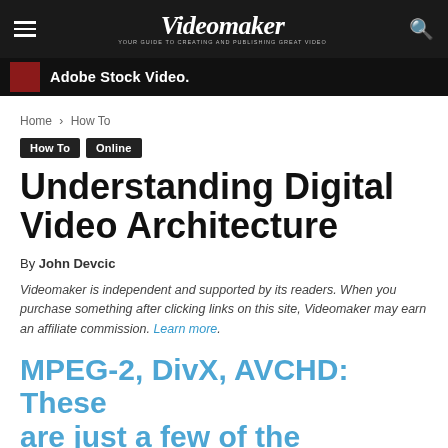Videomaker — YOUR GUIDE TO CREATING AND PUBLISHING GREAT VIDEO
[Figure (screenshot): Adobe Stock Video advertisement banner, dark background with white bold text reading 'Adobe Stock Video.']
Home › How To
How To   Online
Understanding Digital Video Architecture
By John Devcic
Videomaker is independent and supported by its readers. When you purchase something after clicking links on this site, Videomaker may earn an affiliate commission. Learn more.
MPEG-2, DivX, AVCHD: These are just a few of the